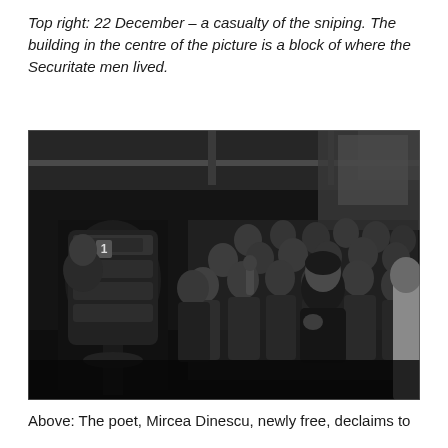Top right: 22 December – a casualty of the sniping. The building in the centre of the picture is a block of where the Securitate men lived.
[Figure (photo): Black and white photograph of a group of people gathered indoors around a television camera or broadcasting equipment on the left. A woman in a dark top stands centrally with her hand on her chest, surrounded by a crowd of men. The setting appears to be a broadcasting studio or indoor venue during the Romanian Revolution, December 1989.]
Above: The poet, Mircea Dinescu, newly free, declaims to